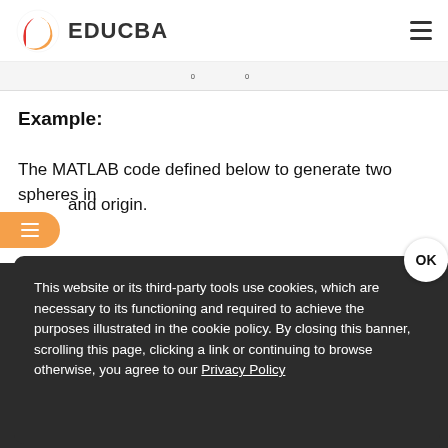EDUCBA
Example:
The MATLAB code defined below to generate two spheres in and origin.
surf(P0,P)
P2 = P * rad;
02 = 0 * rad;
This website or its third-party tools use cookies, which are necessary to its functioning and required to achieve the purposes illustrated in the cookie policy. By closing this banner, scrolling this page, clicking a link or continuing to browse otherwise, you agree to our Privacy Policy